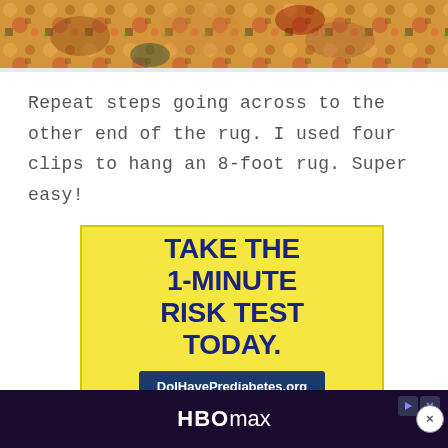[Figure (photo): Top portion of a colorful floral rug, showing orange, yellow, red, and dark patterned textile design.]
Repeat steps going across to the other end of the rug. I used four clips to hang an 8-foot rug. Super easy!
[Figure (infographic): Yellow advertisement banner reading 'TAKE THE 1-MINUTE RISK TEST TODAY.' with a dark blue button showing 'DoIHavePrediabetes.org']
[Figure (infographic): Dark advertisement banner at the bottom showing 'HBO max' logo with play and close controls.]